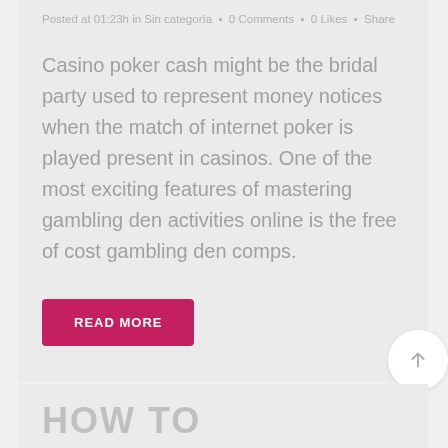Posted at 01:23h in Sin categoría · 0 Comments · 0 Likes · Share
Casino poker cash might be the bridal party used to represent money notices when the match of internet poker is played present in casinos. One of the most exciting features of mastering gambling den activities online is the free of cost gambling den comps.
READ MORE
HOW TO